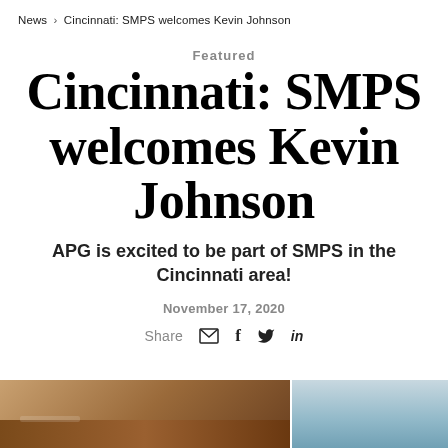News › Cincinnati: SMPS welcomes Kevin Johnson
Featured
Cincinnati: SMPS welcomes Kevin Johnson
APG is excited to be part of SMPS in the Cincinnati area!
November 17, 2020
Share
[Figure (photo): Bottom strip showing two partial photos side by side: left shows a wooden desk or furniture in warm brown tones, right shows a light blue/teal background]